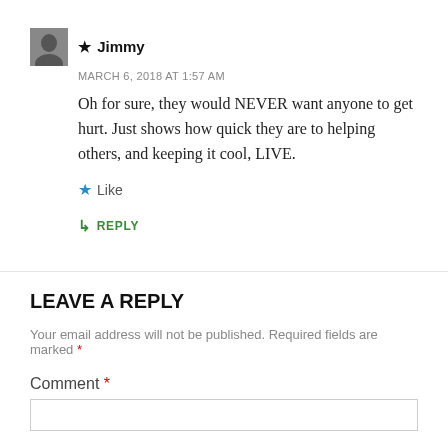★ Jimmy
MARCH 6, 2018 AT 1:57 AM
Oh for sure, they would NEVER want anyone to get hurt. Just shows how quick they are to helping others, and keeping it cool, LIVE.
★ Like
↳ REPLY
LEAVE A REPLY
Your email address will not be published. Required fields are marked *
Comment *